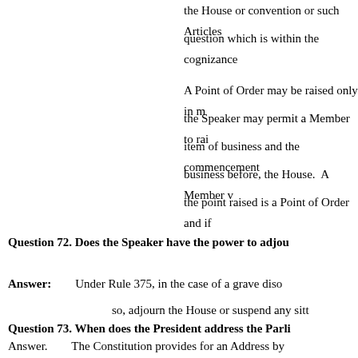the House or convention or such Articles question which is within the cognizance
A Point of Order may be raised only in m the Speaker may permit a Member to rai item of business and the commencement business before, the House. A Member t the point raised is a Point of Order and if
Question 72. Does the Speaker have the power to adjou
Answer:     Under Rule 375, in the case of a grave diso so, adjourn the House or suspend any sitt
Question 73. When does the President address the Parli
Answer.      The Constitution provides for an Address by [Article 86(1)]. The Constitution als Parliament assembled together at the co